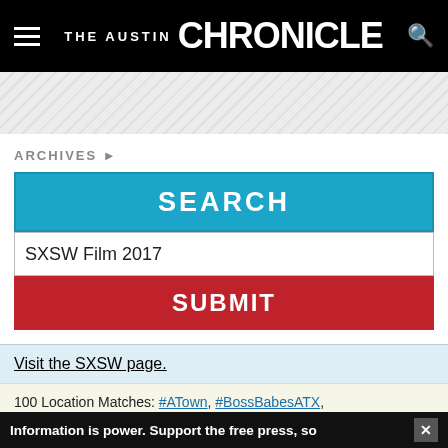THE AUSTIN CHRONICLE
[Figure (other): Gray diagonal striped banner/advertisement area]
ARCHIVES ▶
SEARCH
SXSW Film 2017
SUBMIT
Visit the SXSW page.
100 Location Matches: #ATown, #BossBabesATX, #peeonsomebody ... [show more]
1-30 of 272 results, sorted by relevance | sort by date
SXSW Film Changes the Channel With a New
Information is power. Support the free press, so